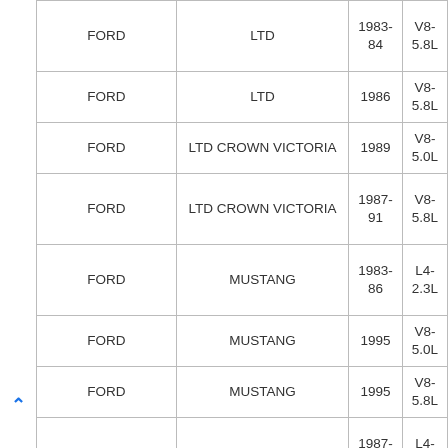| Make | Model | Year | Engine |
| --- | --- | --- | --- |
| FORD | LTD | 1983-84 | V8-5.8L |
| FORD | LTD | 1986 | V8-5.8L |
| FORD | LTD CROWN VICTORIA | 1989 | V8-5.0L |
| FORD | LTD CROWN VICTORIA | 1987-91 | V8-5.8L |
| FORD | MUSTANG | 1983-86 | L4-2.3L |
| FORD | MUSTANG | 1995 | V8-5.0L |
| FORD | MUSTANG | 1995 | V8-5.8L |
| FORD | TAURUS | 1987-91 | L4-2.5L |
| FORD | TEMPO | 1984-85 | L4-2.3L |
| FORD | TEMPO | 1993- | L4-2.3L |